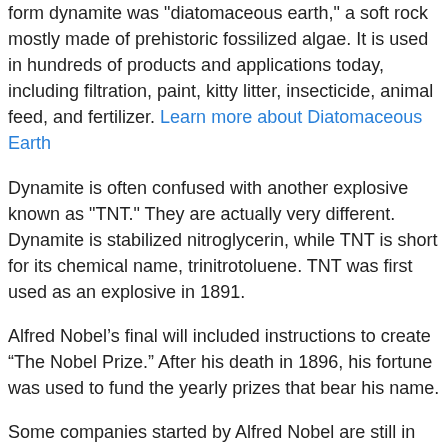form dynamite was "diatomaceous earth," a soft rock mostly made of prehistoric fossilized algae. It is used in hundreds of products and applications today, including filtration, paint, kitty litter, insecticide, animal feed, and fertilizer. Learn more about Diatomaceous Earth
Dynamite is often confused with another explosive known as "TNT." They are actually very different. Dynamite is stabilized nitroglycerin, while TNT is short for its chemical name, trinitrotoluene. TNT was first used as an explosive in 1891.
Alfred Nobel’s final will included instructions to create "The Nobel Prize." After his death in 1896, his fortune was used to fund the yearly prizes that bear his name.
Some companies started by Alfred Nobel are still in operation. One example is Dyno-Nobel, which sells mining explosives in the United States, Canada, and several other countries.
The last sentence starts here but is cut off at the bottom of the page.